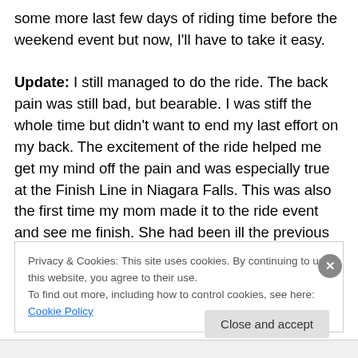some more last few days of riding time before the weekend event but now, I'll have to take it easy.

Update: I still managed to do the ride. The back pain was still bad, but bearable. I was stiff the whole time but didn't want to end my last effort on my back. The excitement of the ride helped me get my mind off the pain and was especially true at the Finish Line in Niagara Falls. This was also the first time my mom made it to the ride event and see me finish. She had been ill the previous years. It was good to see her there!
Privacy & Cookies: This site uses cookies. By continuing to use this website, you agree to their use.
To find out more, including how to control cookies, see here: Cookie Policy